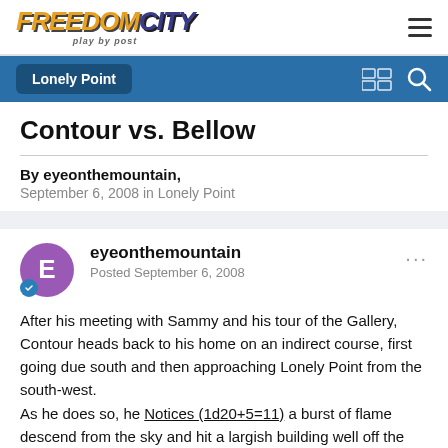FREEDOMCITY play by post
Lonely Point
Contour vs. Bellow
By eyeonthemountain,
September 6, 2008 in Lonely Point
eyeonthemountain
Posted September 6, 2008
After his meeting with Sammy and his tour of the Gallery, Contour heads back to his home on an indirect course, first going due south and then approaching Lonely Point from the south-west.
As he does so, he Notices (1d20+5=11) a burst of flame descend from the sky and hit a largish building well off the main roads.